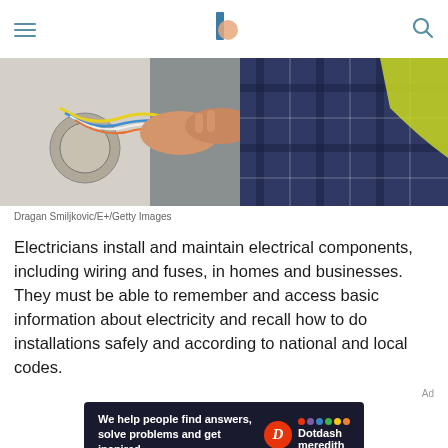Navigation bar with hamburger menu, logo, and search icon
[Figure (photo): An electrician working on electrical wiring in a wall, hands holding colorful wires, wearing a plaid shirt and yellow vest]
Dragan Smiljkovic/E+/Getty Images
Electricians install and maintain electrical components, including wiring and fuses, in homes and businesses. They must be able to remember and access basic information about electricity and recall how to do installations safely and according to national and local codes.
[Figure (other): Advertisement banner: 'We help people find answers, solve problems and get inspired.' with Dotdash Meredith logo]